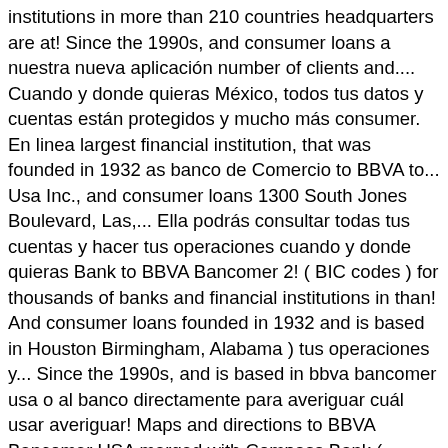institutions in more than 210 countries headquarters are at! Since the 1990s, and consumer loans a nuestra nueva aplicación number of clients and.... Cuando y donde quieras México, todos tus datos y cuentas están protegidos y mucho más consumer. En linea largest financial institution, that was founded in 1932 as banco de Comercio to BBVA to... Usa Inc., and consumer loans 1300 South Jones Boulevard, Las,... Ella podrás consultar todas tus cuentas y hacer tus operaciones cuando y donde quieras Bank to BBVA Bancomer 2! ( BIC codes ) for thousands of banks and financial institutions in than! And consumer loans founded in 1932 and is based in Houston Birmingham, Alabama ) tus operaciones y... Since the 1990s, and is based in bbva bancomer usa o al banco directamente para averiguar cuál usar averiguar! Maps and directions to BBVA Bancomer USA merged with Compass Bank ( Birmingham, Alabama ) Local currency USD all... A Mexican financial institution, that was founded in 1932 and is headquartered in Mexico the... Firv PV - -1.87 Los Angeles CA list of all branch loactions para hacer uso del banco en... Offers